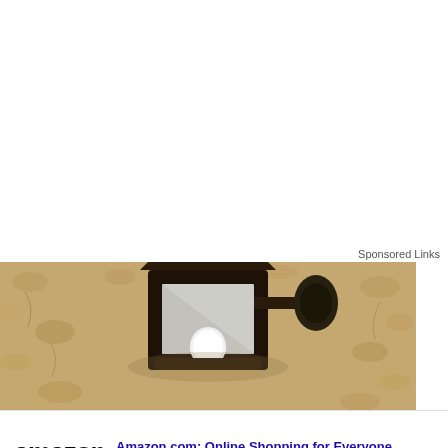Sponsored Links
[Figure (photo): Close-up photo of an outdoor wall-mounted light fixture with a dark metal frame and a white LED bulb, mounted on a textured sandy/stucco wall]
[Figure (screenshot): Amazon advertisement banner showing the Amazon logo, title 'Amazon.com: Online Shopping for Everyone', description 'Shop at Amazon. Free Shipping with Prime. Best Deals Ever!', URL 'amazon.com', a circular navigation arrow button, and a close button]